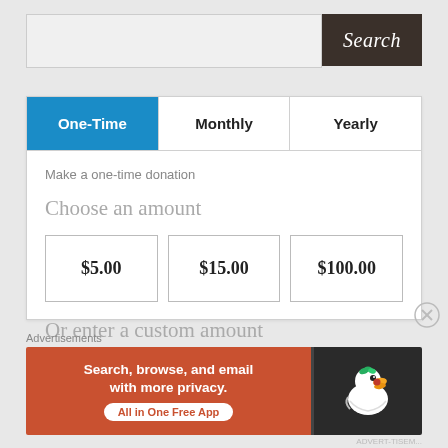[Figure (screenshot): Search bar input box with dark brown Search button on the right]
One-Time | Monthly | Yearly tabs for donation frequency
Make a one-time donation
Choose an amount
$5.00
$15.00
$100.00
Or enter a custom amount
Advertisements
[Figure (infographic): DuckDuckGo advertisement banner: orange left panel saying 'Search, browse, and email with more privacy. All in One Free App' with white pill button, dark right panel with DuckDuckGo duck logo]